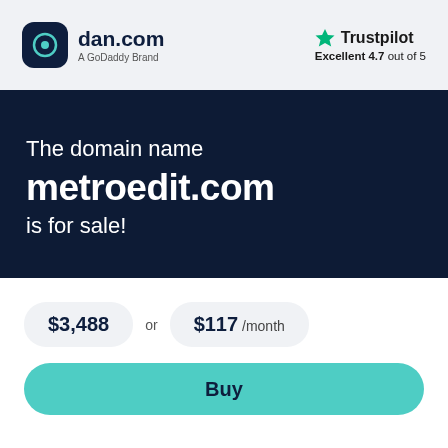[Figure (logo): dan.com logo with dark rounded square icon and text 'dan.com' with subtitle 'A GoDaddy Brand']
[Figure (logo): Trustpilot logo with green star and text 'Trustpilot', subtext 'Excellent 4.7 out of 5']
The domain name metroedit.com is for sale!
$3,488 or $117 /month
Buy